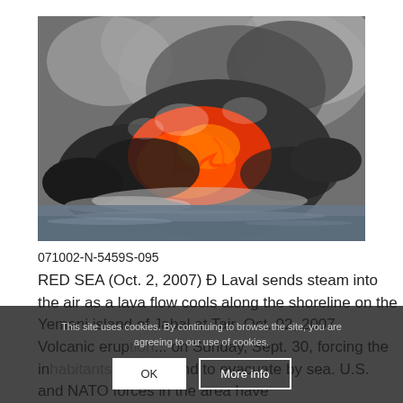[Figure (photo): Volcanic lava flow meeting the ocean, sending steam into the air. Glowing orange lava visible against dark rocks with billowing gray smoke clouds above and water in the foreground.]
071002-N-5459S-095
RED SEA (Oct. 2, 2007) Ð Laval sends steam into the air as a lava flow cools along the shoreline on the Yemeni island of Jabal at Tair, Oct. 02, 2007. Volcanic erupt... on Sunday, Sept. 30, forcing the in... the island to evacuate by sea. U.S. and NATO forces in the area have...